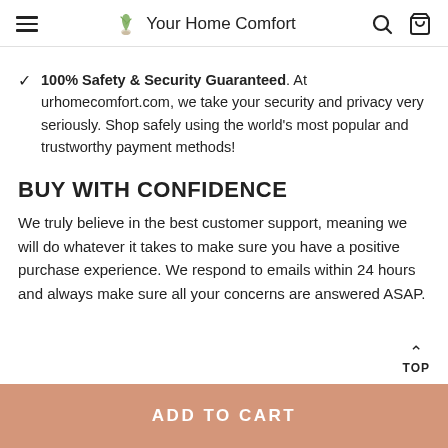Your Home Comfort
100% Safety & Security Guaranteed. At urhomecomfort.com, we take your security and privacy very seriously. Shop safely using the world's most popular and trustworthy payment methods!
BUY WITH CONFIDENCE
We truly believe in the best customer support, meaning we will do whatever it takes to make sure you have a positive purchase experience. We respond to emails within 24 hours and always make sure all your concerns are answered ASAP.